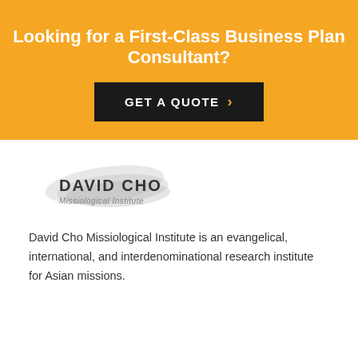Looking for a First-Class Business Plan Consultant?
[Figure (other): GET A QUOTE button with orange chevron on dark background]
[Figure (logo): David Cho Missiological Institute logo with stylized brush stroke motif and text]
David Cho Missiological Institute is an evangelical, international, and interdenominational research institute for Asian missions.
© 2022 Doctor Cho Missiological Institute, All rights reserved